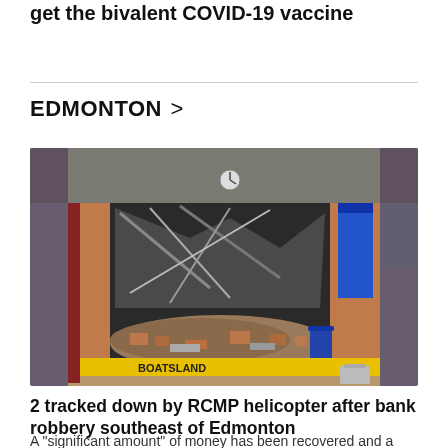get the bivalent COVID-19 vaccine
EDMONTON >
[Figure (photo): Photo of a building with a destroyed/demolished wall, debris and bricks scattered on the ground, yellow barrier in foreground reading 'BOATSLARD', blue panels and brick facade visible. Crime scene photo of bank robbery site southeast of Edmonton.]
2 tracked down by RCMP helicopter after bank robbery southeast of Edmonton
A "significant amount" of money has been recovered and a